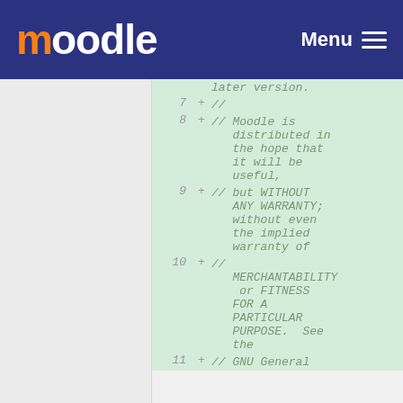moodle  Menu
[Figure (screenshot): Moodle code diff view showing lines 7-11 of a GPL-licensed PHP file with green highlighted additions. Line 7: + //, Line 8: + // Moodle is distributed in the hope that it will be useful,, Line 9: + // but WITHOUT ANY WARRANTY; without even the implied warranty of, Line 10: + // MERCHANTABILITY or FITNESS FOR A PARTICULAR PURPOSE.  See the, Line 11: + // GNU General]